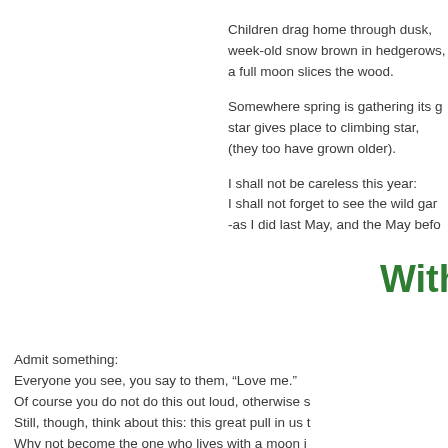Children drag home through dusk, week-old snow brown in hedgerows, a full moon slices the wood.

Somewhere spring is gathering its g[reen], star gives place to climbing star, (they too have grown older).

I shall not be careless this year: I shall not forget to see the wild gar[-lic] -as I did last May, and the May befo[re].
With T[ime]
Admit something:
Everyone you see, you say to them, “Love me.”
Of course you do not do this out loud, otherwise s[omeone]
Still, though, think about this: this great pull in us t[o]
Why not become the one who lives with a moon i[n]
that is always saying,
with that sweet moon language,